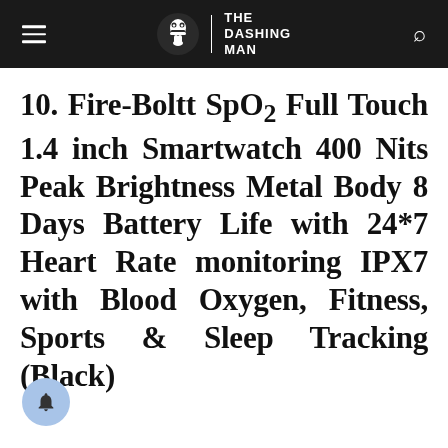The Dashing Man
10. Fire-Boltt SpO2 Full Touch 1.4 inch Smartwatch 400 Nits Peak Brightness Metal Body 8 Days Battery Life with 24*7 Heart Rate monitoring IPX7 with Blood Oxygen, Fitness, Sports & Sleep Tracking (Black)